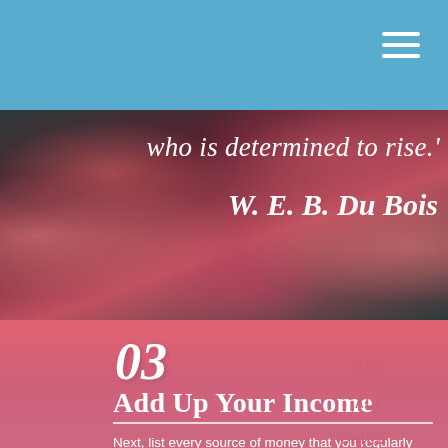[Figure (screenshot): Navigation bar with sky-blue background and hamburger menu icon (three white lines) at top right]
[Figure (photo): Quote banner with dark floral background overlay showing pink flowers and text: 'who is determined to rise.' attributed to W. E. B. Du Bois in stylized script]
who is determined to rise.'
W. E. B. Du Bois
03
Add Up Your Income
Next, list every source of money that you regularly receive. If you work, include your total monthly paycheck after taxes. Include alimony, child support, and any other sources of income. Tally up your monthly income, and write that amount here.²
PAY
ALI
CHILD
YOUR